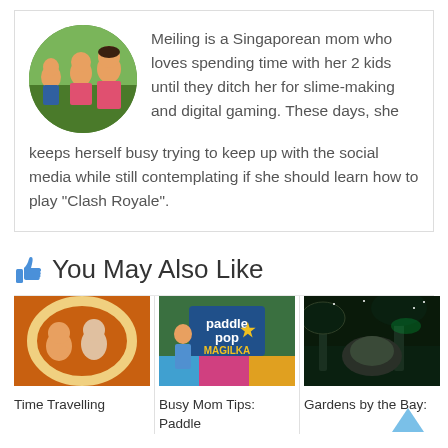[Figure (photo): Circular profile photo of Meiling with her two kids, outdoors]
Meiling is a Singaporean mom who loves spending time with her 2 kids until they ditch her for slime-making and digital gaming. These days, she keeps herself busy trying to keep up with the social media while still contemplating if she should learn how to play "Clash Royale".
👍 You May Also Like
[Figure (photo): Children posing in a circular photo frame cutout]
Time Travelling
[Figure (photo): Paddle Pop Magilka event sign with a performer]
Busy Mom Tips: Paddle
[Figure (photo): Gardens by the Bay supertrees illuminated at night]
Gardens by the Bay: